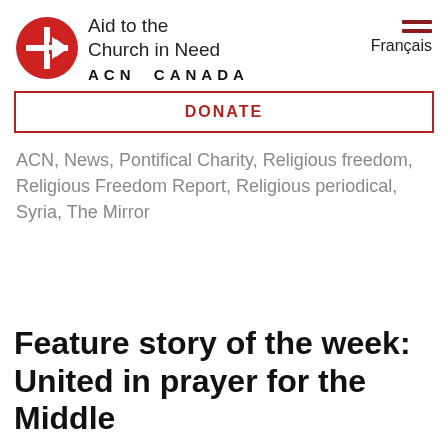[Figure (logo): Aid to the Church in Need (ACN) Canada logo — red circle with white cross and arrow symbol, next to text 'Aid to the Church in Need' and 'ACN CANADA']
Français
DONATE
ACN, News, Pontifical Charity, Religious freedom, Religious Freedom Report, Religious periodical, Syria, The Mirror
Feature story of the week: United in prayer for the Middle